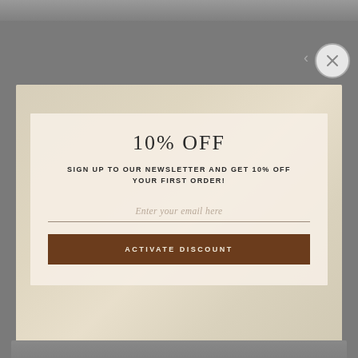[Figure (photo): Background website screenshot with gray overlay and a partial photo at top showing an outdoor scene]
[Figure (screenshot): A close button (X) in a circle in the top-right area of the popup]
10% OFF
SIGN UP TO OUR NEWSLETTER AND GET 10% OFF YOUR FIRST ORDER!
Enter your email here
ACTIVATE DISCOUNT